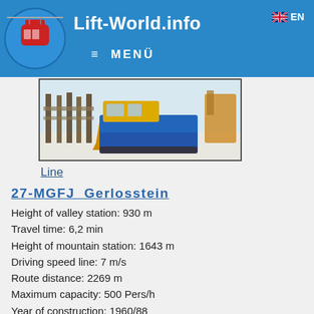Lift-World.info  ≡ MENÜ  EN
[Figure (photo): Photo of a ski groomer/piste machine on snowy terrain with wooden fence posts in foreground]
Line
27-MGFJ  Gerlosstein
Height of valley station: 930 m
Travel time: 6,2 min
Height of mountain station: 1643 m
Driving speed line: 7 m/s
Route distance: 2269 m
Maximum capacity: 500 Pers/h
Year of construction: 1960/88
Lift manufacturer: Waagner Biro
Seasontime: ❄ ✳